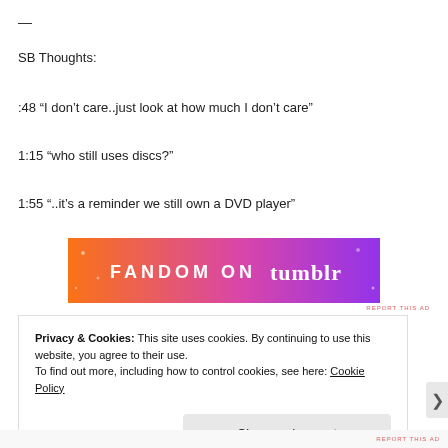—
SB Thoughts:
:48 “I don’t care..just look at how much I don’t care”
1:15 “who still uses discs?”
1:55 “..it’s a reminder we still own a DVD player”
[Figure (illustration): Fandom on Tumblr advertisement banner with orange to purple gradient and white text]
2
2
Privacy & Cookies: This site uses cookies. By continuing to use this website, you agree to their use.
To find out more, including how to control cookies, see here: Cookie Policy
Close and accept